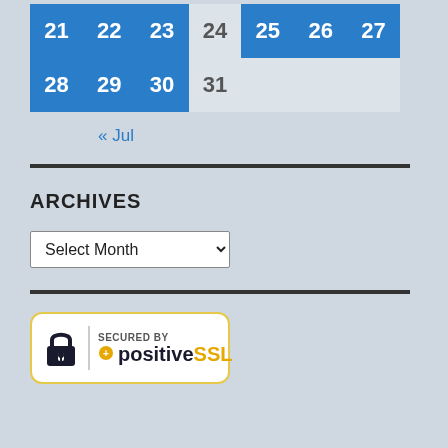| 21 | 22 | 23 | 24 | 25 | 26 | 27 |
| 28 | 29 | 30 | 31 |  |  |  |
« Jul
ARCHIVES
Select Month
[Figure (logo): SECURED BY positiveSSL badge with lock icon and gold border]